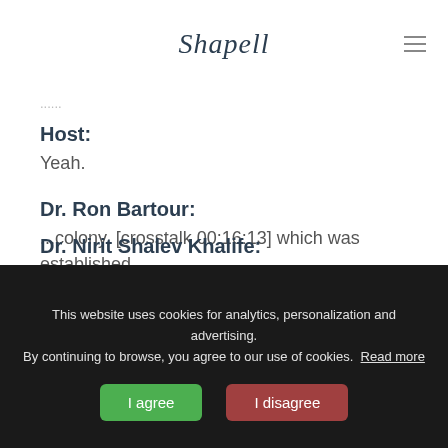Shapell
Host:
Yeah.
Dr. Ron Bartour:
...colony, [crosstalk 00:16:13] which was established.
Host:
So, like-
Dr. Nirit Shalev Khalife:
This website uses cookies for analytics, personalization and advertising. By continuing to browse, you agree to our use of cookies. Read more
I agree
I disagree